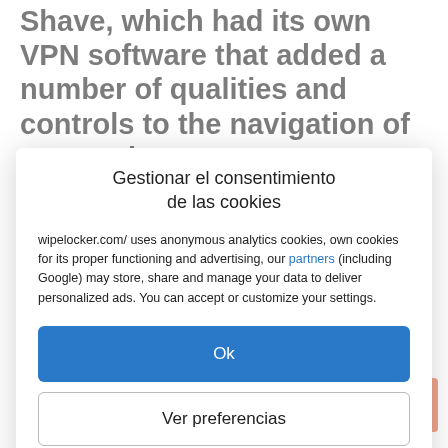Shave, which had its own VPN software that added a number of qualities and controls to the navigation of users who
Gestionar el consentimiento de las cookies
wipelocker.com/ uses anonymous analytics cookies, own cookies for its proper functioning and advertising, our partners (including Google) may store, share and manage your data to deliver personalized ads. You can accept or customize your settings.
Ok
Ver preferencias
Política de cookies   Declaración de privacidad   Impressum
to which I am connected as a virtual node.